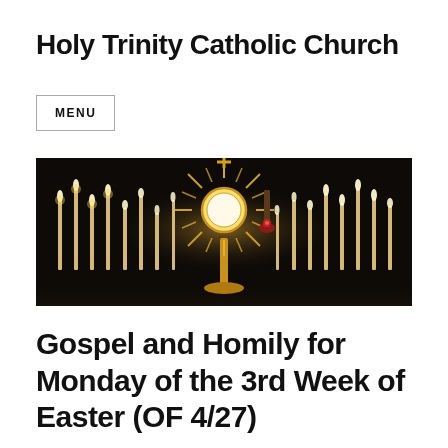Holy Trinity Catholic Church
MENU
[Figure (photo): Dark altar scene with lit candles on both sides and a golden monstrance at the center, used as a banner image for Holy Trinity Catholic Church website.]
Gospel and Homily for Monday of the 3rd Week of Easter (OF 4/27)